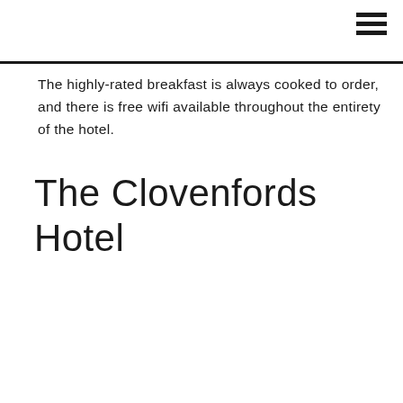≡
The highly-rated breakfast is always cooked to order, and there is free wifi available throughout the entirety of the hotel.
The Clovenfords Hotel